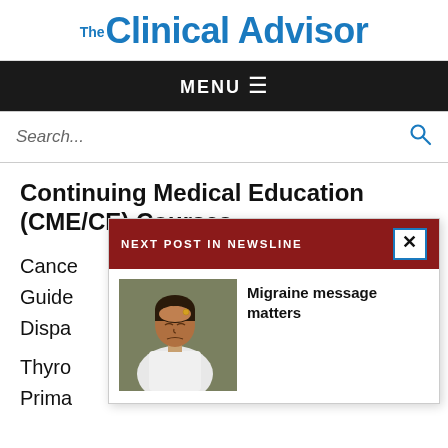Clinical Advisor
MENU ≡
Search...
Continuing Medical Education (CME/CE) Courses
Cance...
Guide...
Dispa...
Thyro...
Prima...
[Figure (screenshot): Popup overlay with red header reading 'NEXT POST IN NEWSLINE', a close X button, a photo of a woman holding her head in pain representing a migraine article, and bold text 'Migraine message matters']
Updates in Diabetes Care for Primary Care